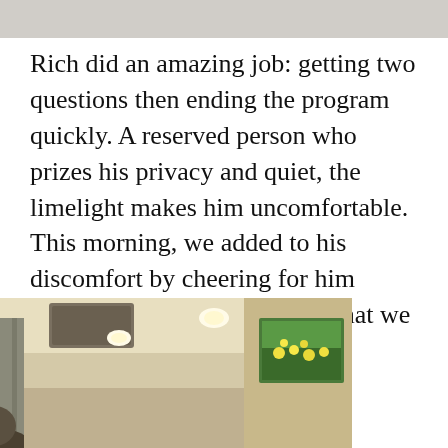[Figure (photo): Partial photo at top of page, cropped, showing people in white clothing]
Rich did an amazing job: getting two questions then ending the program quickly. A reserved person who prizes his privacy and quiet, the limelight makes him uncomfortable. This morning, we added to his discomfort by cheering for him loudly, the good batch mates that we were.
[Figure (photo): Indoor room photo showing ceiling with AC unit and recessed lights, curtains, a framed painting on the right wall, and two people partially visible at the bottom]